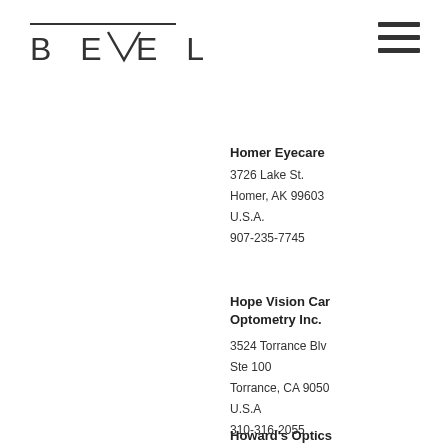[Figure (logo): BEVEL logo with stylized text and overline]
[Figure (other): Hamburger menu icon (three horizontal lines)]
Homer Eyecare
3726 Lake St.
Homer, AK 99603
U.S.A.
907-235-7745
Hope Vision Care Optometry Inc.
3524 Torrance Blvd
Ste 100
Torrance, CA 9050
U.S.A
310-316-2055
Howard's Optics